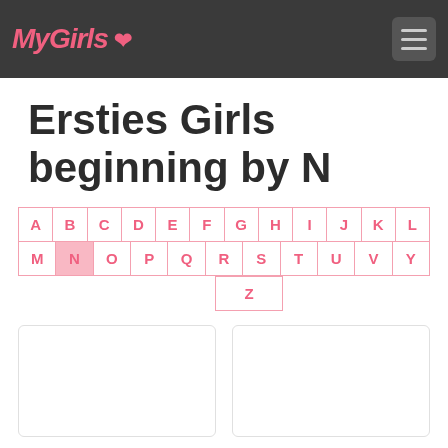MyGirls
Ersties Girls beginning by N
[Figure (other): Alphabet navigation grid with letters A-Z. Letter N is highlighted in pink as the active selection.]
[Figure (other): Two blank image card placeholders side by side]